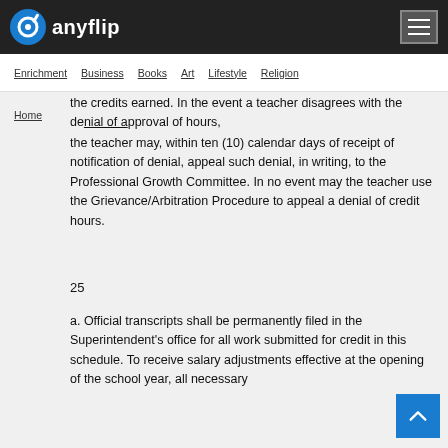anyflip
Enrichment  Business  Books  Art  Lifestyle  Religion
Home
the credits earned. In the event a teacher disagrees with the denial of approval of hours, the teacher may, within ten (10) calendar days of receipt of notification of denial, appeal such denial, in writing, to the Professional Growth Committee. In no event may the teacher use the Grievance/Arbitration Procedure to appeal a denial of credit hours.
25
a. Official transcripts shall be permanently filed in the Superintendent's office for all work submitted for credit in this schedule. To receive salary adjustments effective at the opening of the school year, all necessary